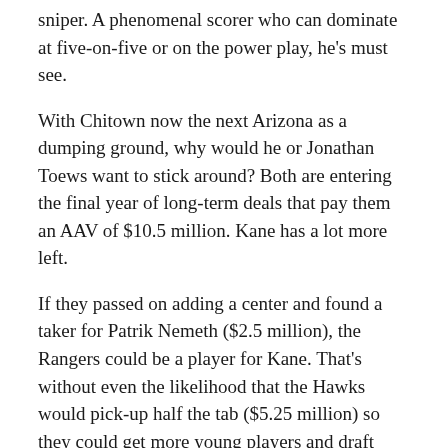sniper. A phenomenal scorer who can dominate at five-on-five or on the power play, he's must see.
With Chitown now the next Arizona as a dumping ground, why would he or Jonathan Toews want to stick around? Both are entering the final year of long-term deals that pay them an AAV of $10.5 million. Kane has a lot more left.
If they passed on adding a center and found a taker for Patrik Nemeth ($2.5 million), the Rangers could be a player for Kane. That's without even the likelihood that the Hawks would pick-up half the tab ($5.25 million) so they could get more young players and draft picks back.
As tempting as it is to bring Kane to Broadway, I'd pass. I'm not interested in seeing Chris Drury part with a combo of Chytil, Kakko, Brennan Othmann, Zac Jones and future firsts. It doesn't make sense.